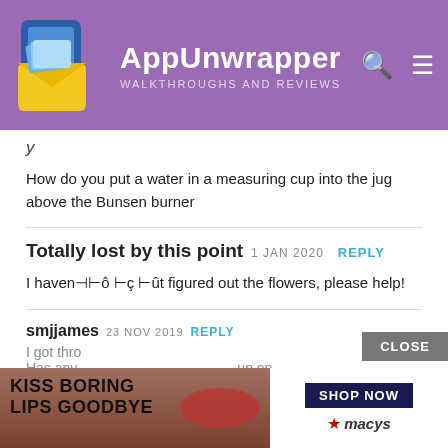AppUnwrapper WALKTHROUGHS AND REVIEWS
How do you put a water in a measuring cup into the jug above the Bunsen burner
Totally lost by this point 1 JAN 2020 REPLY
I haven⊣⊢ô ⊢ç ⊢ût figured out the flowers, please help!
smjjames 23 NOV 2019 REPLY
I got thro... Has any... up on
[Figure (screenshot): Advertisement overlay showing 'KISS BORING LIPS GOODBYE' with SHOP NOW button and Macy's logo, with CLOSE button]